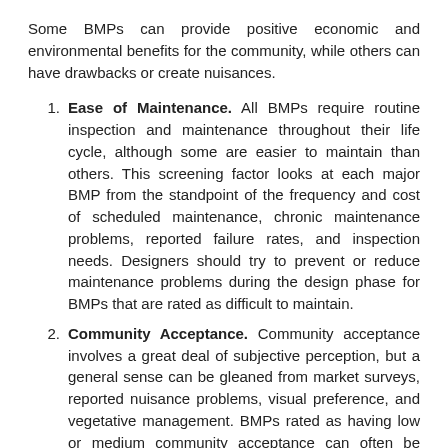Some BMPs can provide positive economic and environmental benefits for the community, while others can have drawbacks or create nuisances.
Ease of Maintenance. All BMPs require routine inspection and maintenance throughout their life cycle, although some are easier to maintain than others. This screening factor looks at each major BMP from the standpoint of the frequency and cost of scheduled maintenance, chronic maintenance problems, reported failure rates, and inspection needs. Designers should try to prevent or reduce maintenance problems during the design phase for BMPs that are rated as difficult to maintain.
Community Acceptance. Community acceptance involves a great deal of subjective perception, but a general sense can be gleaned from market surveys, reported nuisance problems, visual preference, and vegetative management. BMPs rated as having low or medium community acceptance can often be improved through better landscaping or more creative design. Note that while underground BMPs enjoy high